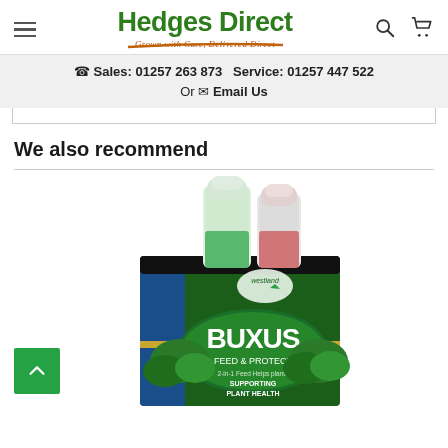Hedges Direct — Grown with Care, Delivered Direct
Sales: 01257 263 873  Service: 01257 447 522  Or Email Us
We also recommend
[Figure (photo): Westland Buxus Feed & Protect product — two bottles in a green branded box labelled BUXUS FEED & PROTECT, Supporting Plant Health]